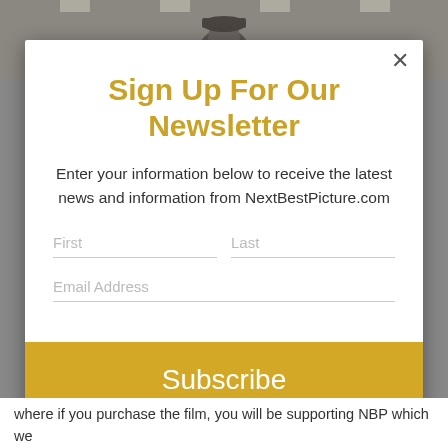[Figure (photo): Background photo of a man looking forward in a corridor, mostly obscured by the modal overlay]
Sign Up For Our Newsletter
Enter your information below to receive the latest news and information from NextBestPicture.com
First
Last
Email Address
Subscribe
where if you purchase the film, you will be supporting NBP which we greatly appreciate.